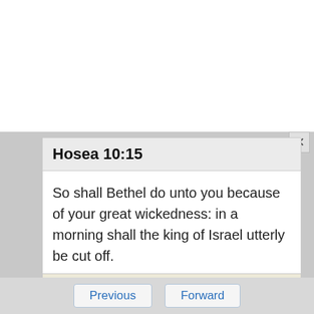Hosea 10:15
So shall Bethel do unto you because of your great wickedness: in a morning shall the king of Israel utterly be cut off.
New Testament
Previous   Forward